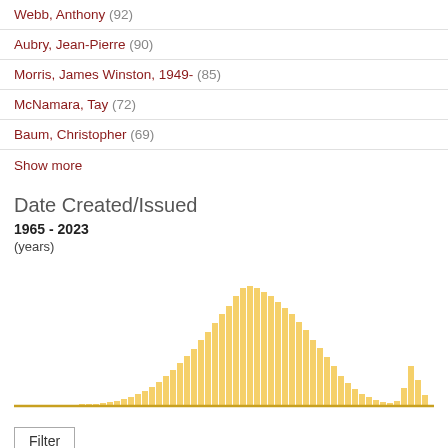Webb, Anthony (92)
Aubry, Jean-Pierre (90)
Morris, James Winston, 1949- (85)
McNamara, Tay (72)
Baum, Christopher (69)
Show more
Date Created/Issued
1965 - 2023
(years)
[Figure (histogram): Date Created/Issued 1965-2023]
Filter
Specify date range: Show